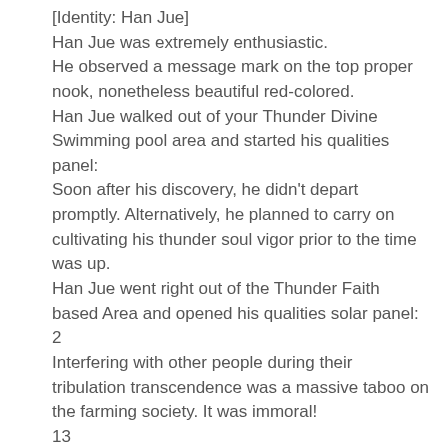[Identity: Han Jue]
Han Jue was extremely enthusiastic.
He observed a message mark on the top proper nook, nonetheless beautiful red-colored.
Han Jue walked out of your Thunder Divine Swimming pool area and started his qualities panel:
Soon after his discovery, he didn't depart promptly. Alternatively, he planned to carry on cultivating his thunder soul vigor prior to the time was up.
Han Jue went right out of the Thunder Faith based Area and opened his qualities solar panel:
2
Interfering with other people during their tribulation transcendence was a massive taboo on the farming society. It was immoral!
13
[Descendant on the Immortal Emperor: Following your activity takes place, you may receive an remarkable farming procedure and one thousand remarkable-grade character rocks.]
The tree soul suddenly established its eyeballs and investigated him in shock.
1
If he left beginning, he could request a reimburse for your leftover time.